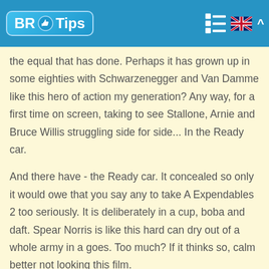BR Tips
the equal that has done. Perhaps it has grown up in some eighties with Schwarzenegger and Van Damme like this hero of action my generation? Any way, for a first time on screen, taking to see Stallone, Arnie and Bruce Willis struggling side for side... In the Ready car.
And there have - the Ready car. It concealed so only it would owe that you say any to take A Expendables 2 too seriously. It is deliberately in a cup, boba and daft. Spear Norris is like this hard can dry out of a whole army in a goes. Too much? If it thinks so, calm better not looking this film.